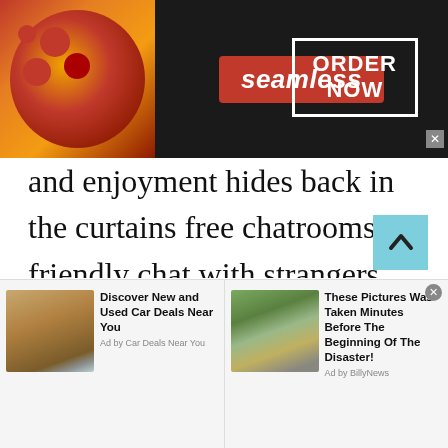[Figure (screenshot): Seamless food delivery advertisement banner with pizza image on left, Seamless logo in red center, and ORDER NOW button in white border on dark background]
and enjoyment hides back in the curtains free chatrooms. A friendly chat with strangers gets your mind away from the stressful life when you video chat with random people of Belarus. Talkwithstranger provides a gateway to some me time
[Figure (screenshot): Two bottom advertisement items: 'Discover New and Used Car Deals Near You' by Car Deals Near You, and 'These Pictures Was Taken Minutes Before The Beginning Of The Disaster!' by BillyNews]